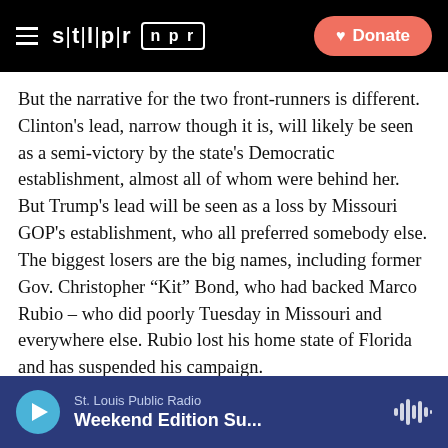STLPR | NPR — Donate
But the narrative for the two front-runners is different. Clinton's lead, narrow though it is, will likely be seen as a semi-victory by the state's Democratic establishment, almost all of whom were behind her.
But Trump's lead will be seen as a loss by Missouri GOP's establishment, who all preferred somebody else. The biggest losers are the big names, including former Gov. Christopher “Kit” Bond, who had backed Marco Rubio – who did poorly Tuesday in Missouri and everywhere else. Rubio lost his home state of Florida and has suspended his campaign.
Cruz's apparent defeat is narrow and could still be
St. Louis Public Radio — Weekend Edition Su...